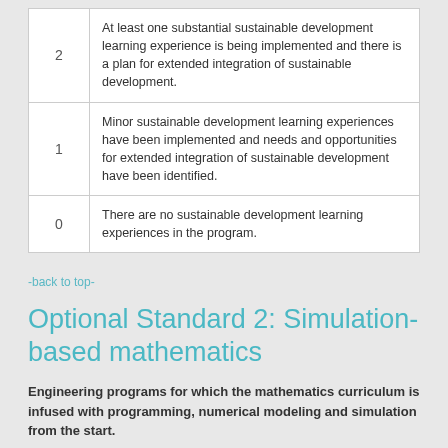| Score | Description |
| --- | --- |
| 2 | At least one substantial sustainable development learning experience is being implemented and there is a plan for extended integration of sustainable development. |
| 1 | Minor sustainable development learning experiences have been implemented and needs and opportunities for extended integration of sustainable development have been identified. |
| 0 | There are no sustainable development learning experiences in the program. |
-back to top-
Optional Standard 2: Simulation-based mathematics
Engineering programs for which the mathematics curriculum is infused with programming, numerical modeling and simulation from the start.